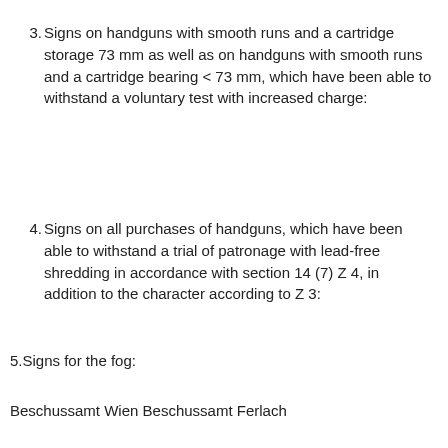3. Signs on handguns with smooth runs and a cartridge storage 73 mm as well as on handguns with smooth runs and a cartridge bearing < 73 mm, which have been able to withstand a voluntary test with increased charge:
4. Signs on all purchases of handguns, which have been able to withstand a trial of patronage with lead-free shredding in accordance with section 14 (7) Z 4, in addition to the character according to Z 3:
5.Signs for the fog:
Beschussamt Wien Beschussamt Ferlach